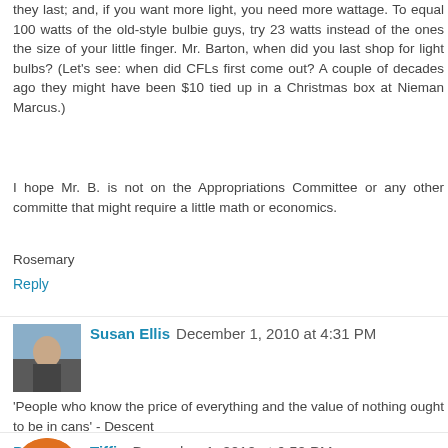they last; and, if you want more light, you need more wattage. To equal 100 watts of the old-style bulbie guys, try 23 watts instead of the ones the size of your little finger. Mr. Barton, when did you last shop for light bulbs? (Let's see: when did CFLs first come out? A couple of decades ago they might have been $10 tied up in a Christmas box at Nieman Marcus.)
I hope Mr. B. is not on the Appropriations Committee or any other committe that might require a little math or economics.
Rosemary
Reply
Susan Ellis  December 1, 2010 at 4:31 PM
'People who know the price of everything and the value of nothing ought to be in cans' - Descent
Reply
Tiffin  December 1, 2010 at 6:50 PM